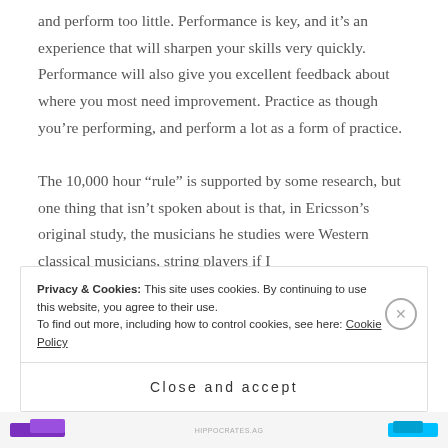and perform too little. Performance is key, and it's an experience that will sharpen your skills very quickly. Performance will also give you excellent feedback about where you most need improvement. Practice as though you're performing, and perform a lot as a form of practice.

The 10,000 hour “rule” is supported by some research, but one thing that isn’t spoken about is that, in Ericsson’s original study, the musicians he studies were Western classical musicians, string players if I
Privacy & Cookies: This site uses cookies. By continuing to use this website, you agree to their use.
To find out more, including how to control cookies, see here: Cookie Policy
Close and accept